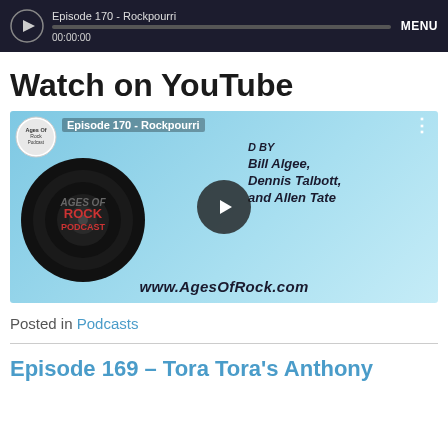[Figure (screenshot): Audio player bar with play button, progress bar, timestamp 00:00:00, and MENU button on dark background. Title shows Episode 170 - Rockpourri]
Watch on YouTube
[Figure (screenshot): YouTube video thumbnail for Ages of Rock Podcast Episode 170 - Rockpourri, showing vinyl record logo on light blue background with text: Hosted By Bill Algee, Dennis Talbott, and Allen Tate. www.AgesOfRock.com. Play button in center.]
Posted in Podcasts
Episode 169 – Tora Tora's Anthony